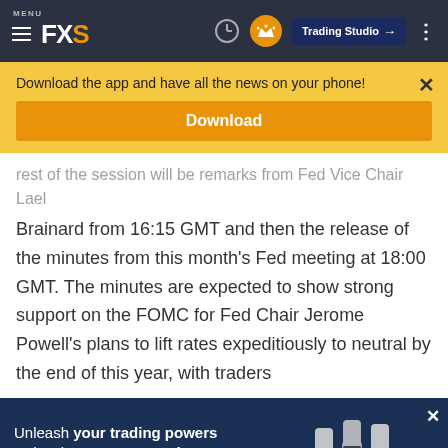MENU FXS | Trading Studio
Download the app and have all the news on your phone!
Download
rest of the session will be remarks from Fed Vice Chair Lael Brainard from 16:15 GMT and then the release of the minutes from this month's Fed meeting at 18:00 GMT. The minutes are expected to show strong support on the FOMC for Fed Chair Jerome Powell's plans to lift rates expeditiously to neutral by the end of this year, with traders
[Figure (screenshot): FXStreet Premium advertisement banner: 'Unleash your trading powers Unleash FXStreet Premium' with raised fists image on dark blue background]
©2022 "FXStreet" All Rights Reserved    Disclaimer ▲